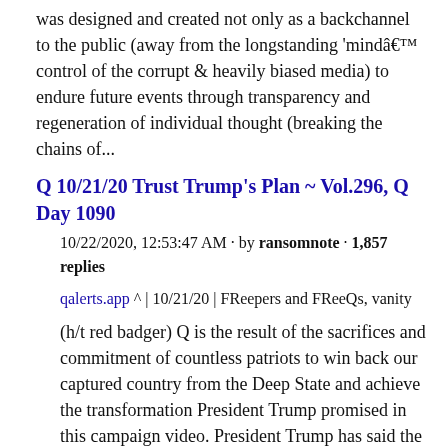was designed and created not only as a backchannel to the public (away from the longstanding 'mindâ€™ control of the corrupt & heavily biased media) to endure future events through transparency and regeneration of individual thought (breaking the chains of...
Q 10/21/20 Trust Trump's Plan ~ Vol.296, Q Day 1090
10/22/2020, 12:53:47 AM · by ransomnote · 1,857 replies
qalerts.app ^ | 10/21/20 | FReepers and FReeQs, vanity
(h/t red badger) Q is the result of the sacrifices and commitment of countless patriots to win back our captured country from the Deep State and achieve the transformation President Trump promised in this campaign video. President Trump has said the awakening of the public is key to this transformation.Q describes this awakening as follows:Â "The Great Awakening ('Freedom of Thoughtâ€™), was designed and created not only as a